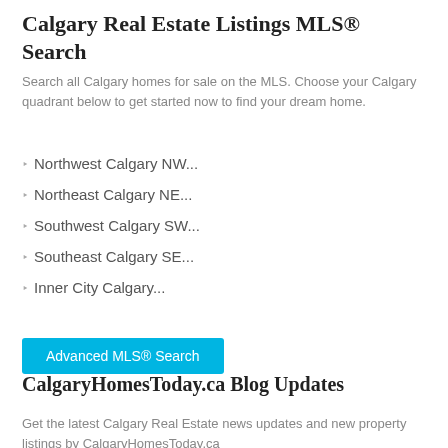Calgary Real Estate Listings MLS® Search
Search all Calgary homes for sale on the MLS. Choose your Calgary quadrant below to get started now to find your dream home.
Northwest Calgary NW...
Northeast Calgary NE...
Southwest Calgary SW...
Southeast Calgary SE...
Inner City Calgary...
[Figure (other): Blue button labeled 'Advanced MLS® Search']
CalgaryHomesToday.ca Blog Updates
Get the latest Calgary Real Estate news updates and new property listings by CalgaryHomesToday.ca